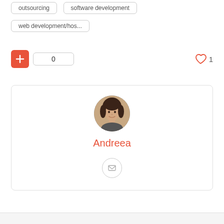outsourcing
software development
web development/hos...
[Figure (infographic): Orange plus button, count box showing 0, and heart icon with count 1]
[Figure (infographic): Profile card with circular avatar photo of Andreea, name in red, and email envelope icon button]
Andreea